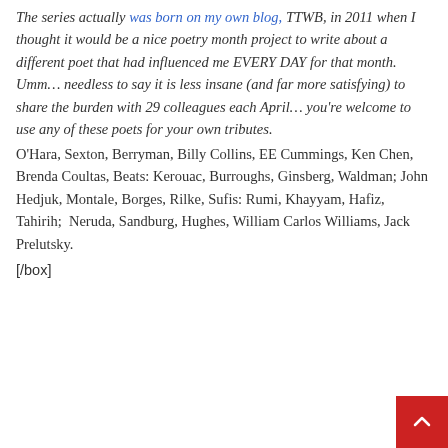The series actually was born on my own blog, TTWB, in 2011 when I thought it would be a nice poetry month project to write about a different poet that had influenced me EVERY DAY for that month. Umm… needless to say it is less insane (and far more satisfying) to share the burden with 29 colleagues each April… you're welcome to use any of these poets for your own tributes.
O'Hara, Sexton, Berryman, Billy Collins, EE Cummings, Ken Chen, Brenda Coultas, Beats: Kerouac, Burroughs, Ginsberg, Waldman; John Hedjuk, Montale, Borges, Rilke, Sufis: Rumi, Khayyam, Hafiz, Tahirih; Neruda, Sandburg, Hughes, William Carlos Williams, Jack Prelutsky.
[/box]